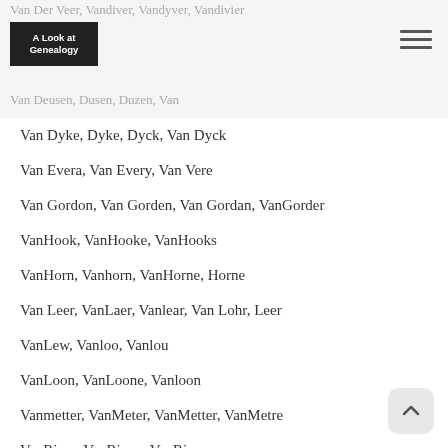Van Der Veer, Vandiver, Vandyver, Vandivier
[Figure (logo): A Look at Genealogy logo — dark background with white text]
Van Deusen, Dusen, Duzen, Van
Van Dyke, Dyke, Dyck, Van Dyck
Van Evera, Van Every, Van Vere
Van Gordon, Van Gorden, Van Gordan, VanGorder
VanHook, VanHooke, VanHooks
VanHorn, Vanhorn, VanHorne, Horne
Van Leer, VanLaer, Vanlear, Van Lohr, Leer
VanLew, Vanloo, Vanlou
VanLoon, VanLoone, Vanloon
Vanmetter, VanMeter, VanMetter, VanMetre
VanRiper, VanRipen, VanRippen